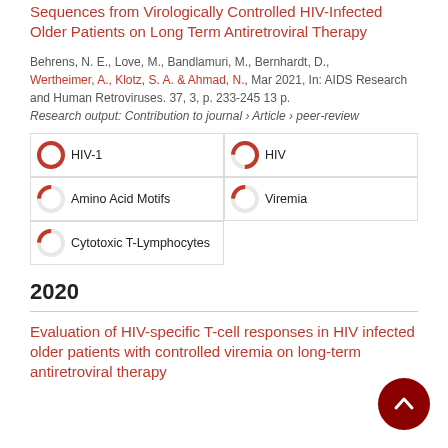Sequences from Virologically Controlled HIV-Infected Older Patients on Long Term Antiretroviral Therapy
Behrens, N. E., Love, M., Bandlamuri, M., Bernhardt, D., Wertheimer, A., Klotz, S. A. & Ahmad, N., Mar 2021, In: AIDS Research and Human Retroviruses. 37, 3, p. 233-245 13 p.
Research output: Contribution to journal › Article › peer-review
[Figure (infographic): Keyword badges with donut-style percentage indicators: HIV-1 (100%), HIV (~75%), Amino Acid Motifs (~25%), Viremia (~25%), Cytotoxic T-Lymphocytes (~25%)]
2020
Evaluation of HIV-specific T-cell responses in HIV infected older patients with controlled viremia on long-term antiretroviral therapy